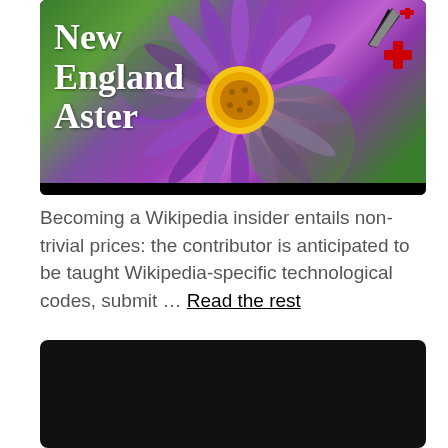[Figure (photo): Purple New England Aster flower with yellow center, overlaid with white text 'New England Aster' and Wikipedia-style icons (pencil, plus symbols) in top right corner. Black bar at bottom of image.]
Becoming a Wikipedia insider entails non-trivial prices: the contributor is anticipated to be taught Wikipedia-specific technological codes, submit … Read the rest
[Figure (photo): Black rectangle, appears to be a dark image or video thumbnail placeholder.]